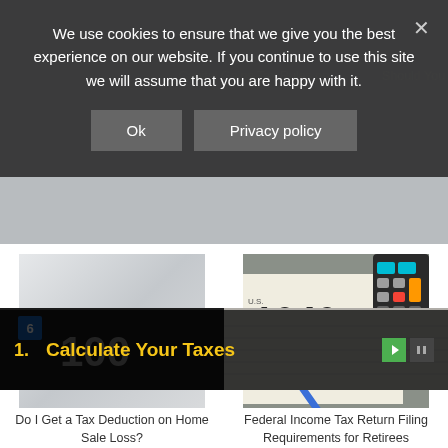We use cookies to ensure that we give you the best experience on our website. If you continue to use this site we will assume that you are happy with it.
Ok
Privacy policy
Capital Gains Tax Rules on
Should You Ever Donate
[Figure (photo): Abstract light grey swirling background]
[Figure (photo): Close-up of IRS 1040 tax form with a blue pen and colorful calculator keys]
Do I Get a Tax Deduction on Home Sale Loss?
Federal Income Tax Return Filing Requirements for Retirees
[Figure (photo): Partial dark photo with number/currency overlay]
[Figure (photo): Partial document/tax form photo]
1.  Calculate Your Taxes
6
6